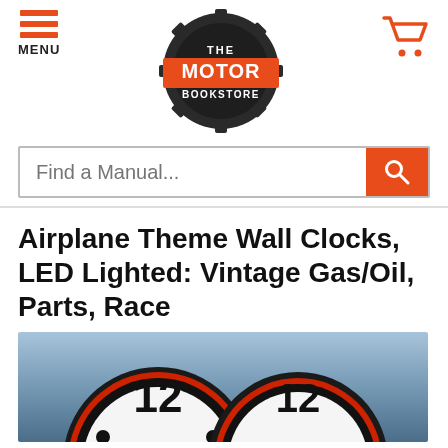[Figure (logo): The Motor Bookstore logo — gear/cog shape with orange banner, dark background, white and orange text]
MENU
Find a Manual...
Airplane Theme Wall Clocks, LED Lighted: Vintage Gas/Oil, Parts, Race
[Figure (photo): Close-up of a large wall clock face showing the number 12 at the top, dark outer ring with red accent, white clock face, blue-grey gradient background]
Subscribe & Get 10% Off Today
Sign up for our email list and stay tuned for special updates & offers.